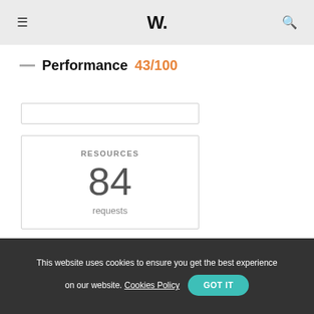W.
Performance 43/100
RESOURCES
84
requests
BYTES IN
15.3
MB
This website uses cookies to ensure you get the best experience on our website. Cookies Policy GOT IT